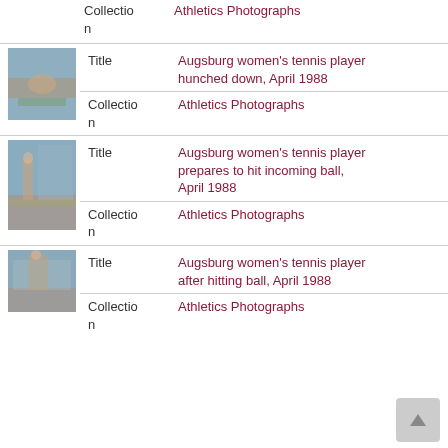Collection
Athletics Photographs
[Figure (photo): Augsburg women's tennis player hunched down on court, April 1988]
Title
Augsburg women's tennis player hunched down, April 1988
Collection
Athletics Photographs
[Figure (photo): Augsburg women's tennis player prepares to hit incoming ball, April 1988]
Title
Augsburg women's tennis player prepares to hit incoming ball, April 1988
Collection
Athletics Photographs
[Figure (photo): Augsburg women's tennis player after hitting ball, April 1988]
Title
Augsburg women's tennis player after hitting ball, April 1988
Collection
Athletics Photographs